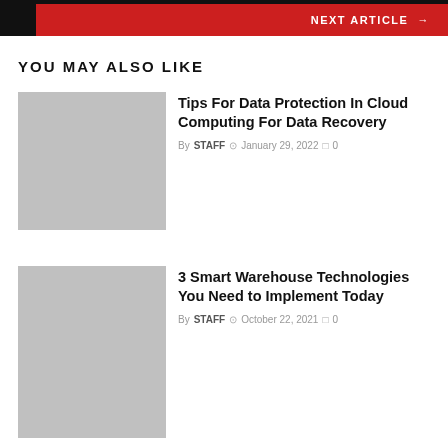NEXT ARTICLE →
YOU MAY ALSO LIKE
[Figure (photo): Gray placeholder image for article 1]
Tips For Data Protection In Cloud Computing For Data Recovery
By STAFF  January 29, 2022  0
[Figure (photo): Gray placeholder image for article 2]
3 Smart Warehouse Technologies You Need to Implement Today
By STAFF  October 22, 2021  0